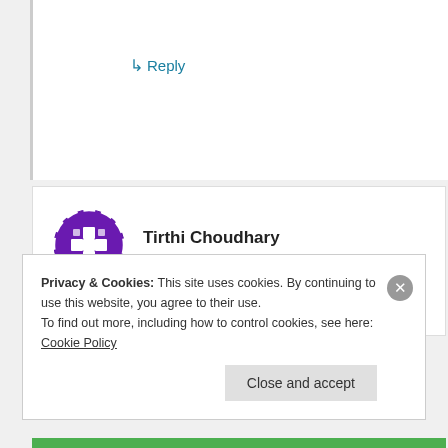↳ Reply
[Figure (illustration): Purple circular avatar icon with cross/plus symbol pattern for user Tirthi Choudhary]
Tirthi Choudhary
December 25, 2011 at 9:28 am
Example is ok. but take two attributes in
Privacy & Cookies: This site uses cookies. By continuing to use this website, you agree to their use.
To find out more, including how to control cookies, see here: Cookie Policy
Close and accept